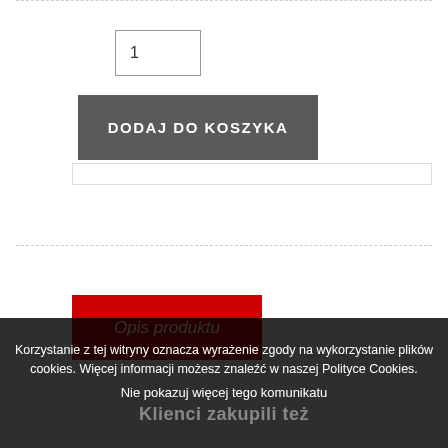1
DODAJ DO KOSZYKA
Opis produktu
Korzystanie z tej witryny oznacza wyrażenie zgody na wykorzystanie plików cookies. Więcej informacji możesz znaleźć w naszej Polityce Cookies.
Nie pokazuj więcej tego komunikatu
Klienci zakupili też